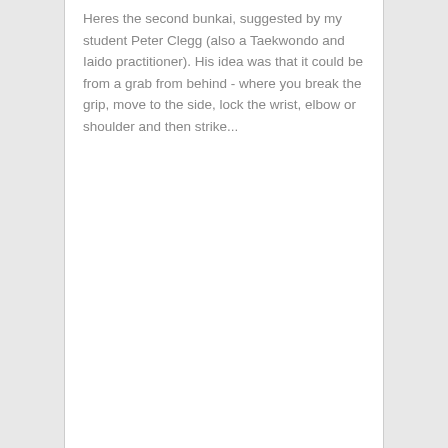Heres the second bunkai, suggested by my student Peter Clegg (also a Taekwondo and Iaido practitioner). His idea was that it could be from a grab from behind - where you break the grip, move to the side, lock the wrist, elbow or shoulder and then strike...